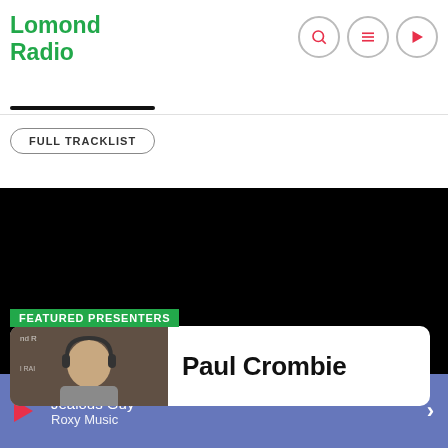Lomond Radio
FULL TRACKLIST
[Figure (screenshot): Dark video/banner area with featured presenter section showing Paul Crombie photo and name card]
FEATURED PRESENTERS
Paul Crombie
Jealous Guy
Roxy Music